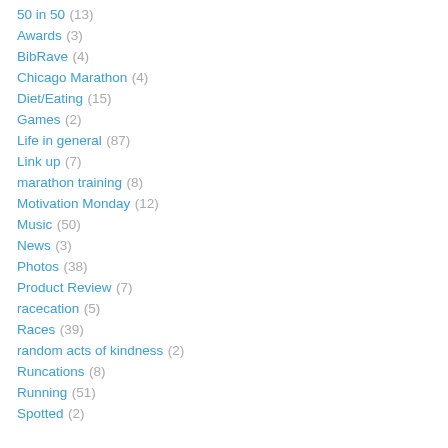50 in 50 (13)
Awards (3)
BibRave (4)
Chicago Marathon (4)
Diet/Eating (15)
Games (2)
Life in general (87)
Link up (7)
marathon training (8)
Motivation Monday (12)
Music (50)
News (3)
Photos (38)
Product Review (7)
racecation (5)
Races (39)
random acts of kindness (2)
Runcations (8)
Running (51)
Spotted (2)